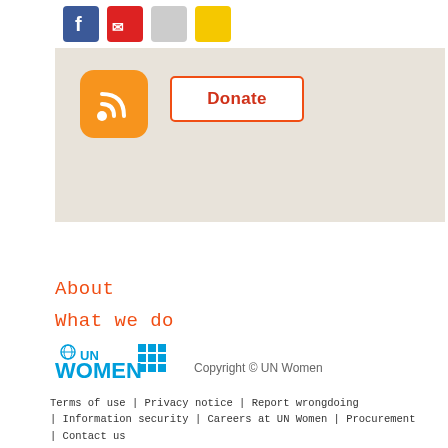[Figure (screenshot): Top banner with social media icons (Facebook, Twitter/X, etc.) on white strip, beige/tan background area with orange RSS feed icon and a Donate button with orange border]
About
What we do
Where we are
How we work
Partnerships
News and Events
Digital Library
Copyright © UN Women | Terms of use | Privacy notice | Report wrongdoing | Information security | Careers at UN Women | Procurement | Contact us